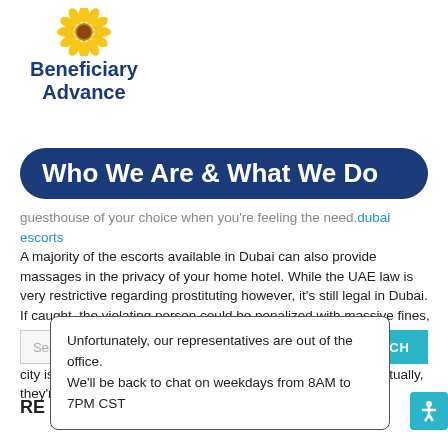[Figure (logo): Beneficiary Advance logo with sunflower graphic above text]
Who We Are & What We Do
guesthouse of your choice when you're feeling the need. dubai escorts A majority of the escorts available in Dubai can also provide massages in the privacy of your home hotel. While the UAE law is very restrictive regarding prostituting however, it's still legal in Dubai. If caught, the violating person could be penalized with massive fines, and possibly even imprisonment. If caught, in Dubai the city has hundreds of escorts, and the range of female sexual workers in the city is huge. Escorts are also employed at luxurious hotels. Actually, they're out and about.
Search ...
Unfortunately, our representatives are out of the office. We'll be back to chat on weekdays from 8AM to 7PM CST
RE